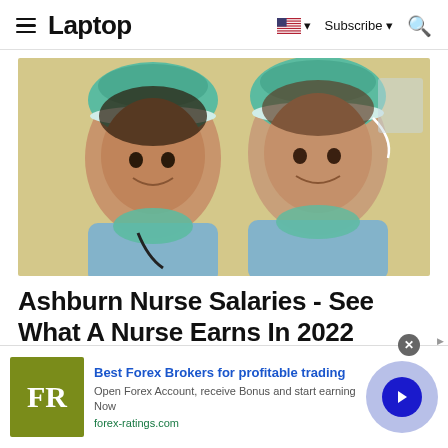Laptop — Subscribe
[Figure (photo): Two female nurses in blue scrubs and teal surgical caps smiling at camera]
Ashburn Nurse Salaries - See What A Nurse Earns In 2022
[Figure (infographic): Advertisement banner: FR logo (olive green box), Best Forex Brokers for profitable trading, Open Forex Account, receive Bonus and start earning Now, forex-ratings.com, with arrow button]